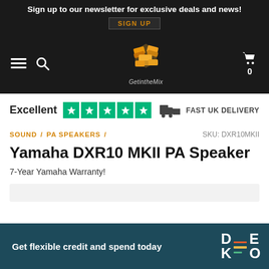Sign up to our newsletter for exclusive deals and news! SIGN UP
[Figure (logo): GetintheMix logo — orange 3D blocks above text 'GetintheMix']
Excellent ★★★★★   FAST UK DELIVERY
SOUND / PA SPEAKERS /   SKU: DXR10MKII
Yamaha DXR10 MKII PA Speaker
7-Year Yamaha Warranty!
Get flexible credit and spend today